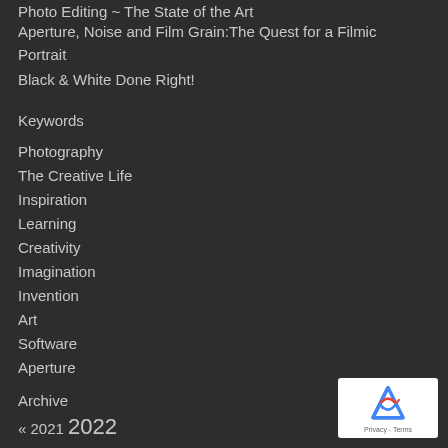Photo Editing ~ The State of the Art
Aperture, Noise and Film Grain:The Quest for a Filmic Portrait
Black & White Done Right!
Keywords
Photography
The Creative Life
Inspiration
Learning
Creativity
Imagination
Invention
Art
Software
Aperture
Archive
« 2021  2022